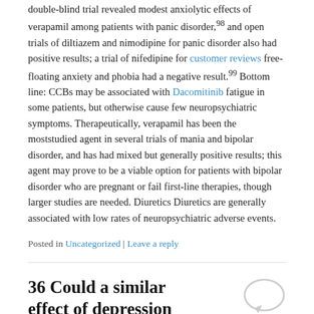double-blind trial revealed modest anxiolytic effects of verapamil among patients with panic disorder,98 and open trials of diltiazem and nimodipine for panic disorder also had positive results; a trial of nifedipine for customer reviews free-floating anxiety and phobia had a negative result.99 Bottom line: CCBs may be associated with Dacomitinib fatigue in some patients, but otherwise cause few neuropsychiatric symptoms. Therapeutically, verapamil has been the moststudied agent in several trials of mania and bipolar disorder, and has had mixed but generally positive results; this agent may prove to be a viable option for patients with bipolar disorder who are pregnant or fail first-line therapies, though larger studies are needed. Diuretics Diuretics are generally associated with low rates of neuropsychiatric adverse events.
Posted in Uncategorized | Leave a reply
36 Could a similar effect of depression be true for